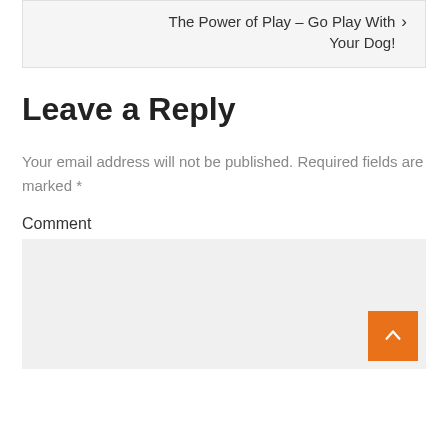The Power of Play – Go Play With Your Dog!
Leave a Reply
Your email address will not be published. Required fields are marked *
Comment